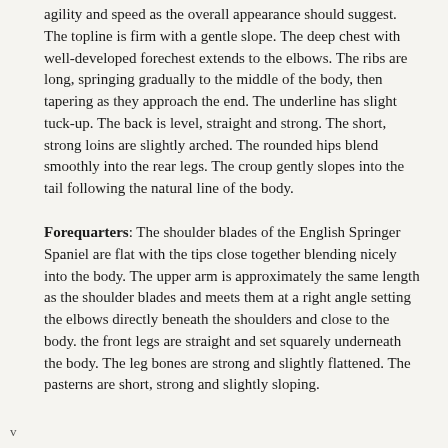agility and speed as the overall appearance should suggest. The topline is firm with a gentle slope. The deep chest with well-developed forechest extends to the elbows. The ribs are long, springing gradually to the middle of the body, then tapering as they approach the end. The underline has slight tuck-up. The back is level, straight and strong. The short, strong loins are slightly arched. The rounded hips blend smoothly into the rear legs. The croup gently slopes into the tail following the natural line of the body.
Forequarters: The shoulder blades of the English Springer Spaniel are flat with the tips close together blending nicely into the body. The upper arm is approximately the same length as the shoulder blades and meets them at a right angle setting the elbows directly beneath the shoulders and close to the body. the front legs are straight and set squarely underneath the body. The leg bones are strong and slightly flattened. The pasterns are short, strong and slightly sloping.
v